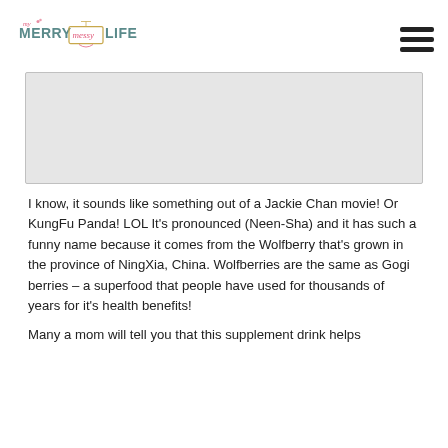My Merry Messy Life
[Figure (photo): Gray placeholder image area]
I know, it sounds like something out of a Jackie Chan movie! Or KungFu Panda! LOL It's pronounced (Neen-Sha) and it has such a funny name because it comes from the Wolfberry that's grown in the province of NingXia, China. Wolfberries are the same as Gogi berries – a superfood that people have used for thousands of years for it's health benefits!
Many a mom will tell you that this supplement drink helps